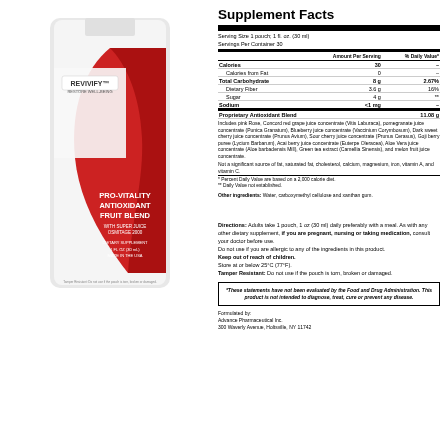[Figure (photo): Revivify Pro-Vitality Antioxidant Fruit Blend dietary supplement pouch, white and red packaging with swooping red design element. Text on pouch reads: REVIVIFY, RESTORE WELL-BEING, PRO-VITALITY ANTIOXIDANT FRUIT BLEND, WITH SUPER JUICE OSMITAGE 2000, DIETARY SUPPLEMENT, 1 FL OZ (30 mL), MADE IN THE USA. Tamper Resistant text at bottom.]
|  | Amount Per Serving | % Daily Value* |
| --- | --- | --- |
| Calories | 30 | – |
| Calories from Fat | 0 | – |
| Total Carbohydrate | 8 g | 2.67% |
| Dietary Fiber | 3.6 g | 16% |
| Sugar | 4 g | ** |
| Sodium | <1 mg | – |
| Proprietary Antioxidant Blend | 11.08 g | † |
Includes pink Rose, Concord red grape juice concentrate (Vitis Laburaca), pomegranate juice concentrate (Punica Granatum), Blueberry juice concentrate (Vaccinium Corymbosum), Dark sweet cherry juice concentrate (Prunus Avium), Sour cherry juice concentrate (Prunus Cerasus), Goji berry puree (Lycium Barbarum), Acai berry juice concentrate (Euterpe Oleracea), Aloe Vera juice concentrate (Aloe barbadensis Mill), Green tea extract (Camellia Sinensis), and melon fruit juice concentrate.
Not a significant source of fat, saturated fat, cholesterol, calcium, magnesium, iron, vitamin A, and vitamin C.
* Percent Daily Value are based on a 2,000 calorie diet.
** Daily Value not established.
Other ingredients: Water, carboxymethyl cellulose and xanthan gum.
Directions: Adults take 1 pouch, 1 oz (30 ml) daily preferably with a meal. As with any other dietary supplement, if you are pregnant, nursing or taking medication, consult your doctor before use. Do not use if you are allergic to any of the ingredients in this product. Keep out of reach of children. Store at or below 25°C (77°F). Tamper Resistant: Do not use if the pouch is torn, broken or damaged.
*These statements have not been evaluated by the Food and Drug Administration. This product is not intended to diagnose, treat, cure or prevent any disease.
Formulated by:
Advance Pharmaceutical Inc.
300 Waverly Avenue, Holtsville, NY 11742